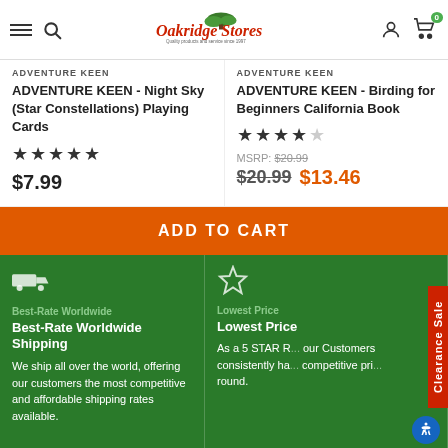Oakridge Stores - Quality products and service since 1997
ADVENTURE KEEN
ADVENTURE KEEN - Night Sky (Star Constellations) Playing Cards
★★★★★
$7.99
ADVENTURE KEEN
ADVENTURE KEEN - Birding for Beginners California Book
★★★★☆
MSRP: $20.99
$20.99  $13.46
ADD TO CART
Best-Rate Worldwide Shipping
We ship all over the world, offering our customers the most competitive and affordable shipping rates available.
Lowest Price
As a 5 STAR R... our Customers consistently ha... competitive pri... round.
Clearance Sale